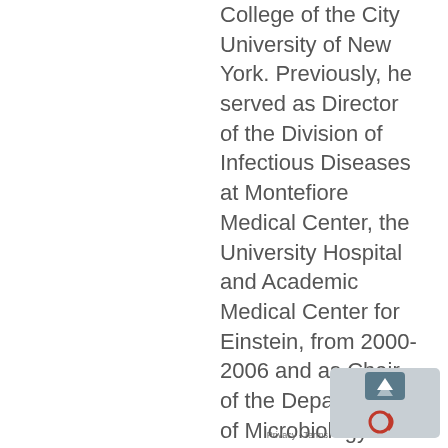College of the City University of New York. Previously, he served as Director of the Division of Infectious Diseases at Montefiore Medical Center, the University Hospital and Academic Medical Center for Einstein, from 2000-2006 and as Chair of the Department of Microbiology and Immunology from 2006-2014. Dr. Casadevall received both his M.D. and Ph.D. (biochemistry) degrees from New York University. Subsequently, he completed his internship and residency in internal medicine at Bellevue Hospital in New York. He then completed subspecialty training in infectious diseases at